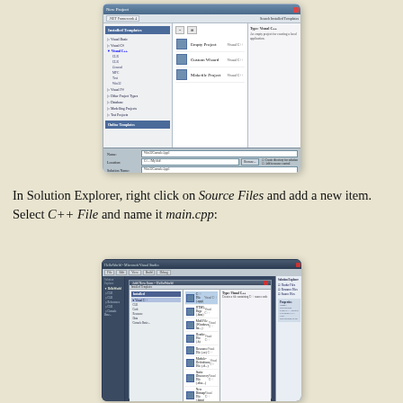[Figure (screenshot): Visual Studio New Project dialog showing installed templates panel on the left with Visual C++ selected, center panel with Empty Project, Custom Wizard, and Makefile Project options, and a description panel on the right. Bottom has Name, Location, Solution Name fields and OK/Cancel buttons.]
In Solution Explorer, right click on Source Files and add a new item. Select C++ File and name it main.cpp:
[Figure (screenshot): Visual Studio IDE with an Add New Item dialog open over it. The dialog shows installed templates on the left, file types in the center (C++ File highlighted at top), description on the right, and Name/Location fields at the bottom with Add/Cancel buttons. The Solution Explorer panel is visible on the right side of the IDE.]